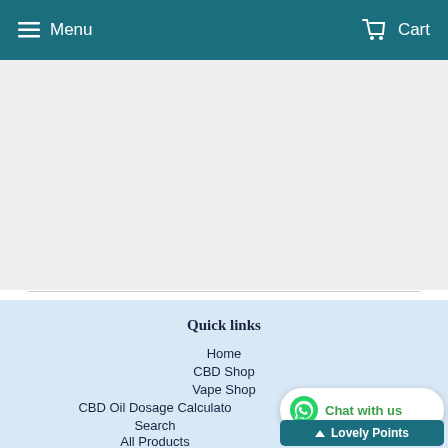Menu  Cart
[Figure (screenshot): Grey empty content area with a light horizontal divider line]
Quick links
Home
CBD Shop
Vape Shop
CBD Oil Dosage Calculator
Search
All Products
[Figure (other): Chat with us WhatsApp widget button]
[Figure (other): Lovely Points teal button]